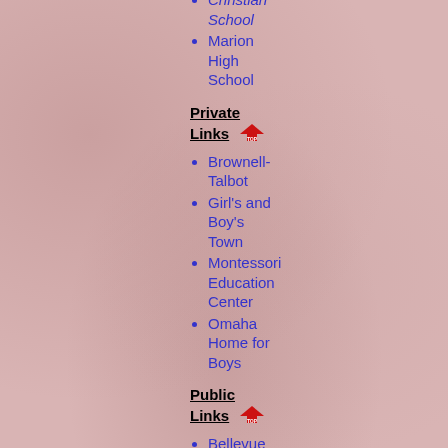Christian School
Marion High School
Private Links
Brownell-Talbot
Girl's and Boy's Town
Montessori Education Center
Omaha Home for Boys
Public Links
Bellevue Public Schools
Blair Schools
Council Bluffs